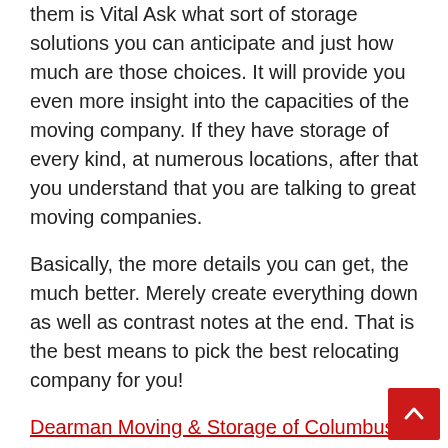them is Vital Ask what sort of storage solutions you can anticipate and just how much are those choices. It will provide you even more insight into the capacities of the moving company. If they have storage of every kind, at numerous locations, after that you understand that you are talking to great moving companies.
Basically, the more details you can get, the much better. Merely create everything down as well as contrast notes at the end. That is the best means to pick the best relocating company for you!
Dearman Moving & Storage of Columbus
440 Polaris Pkwy Suite 115, Westerville, OH 43082